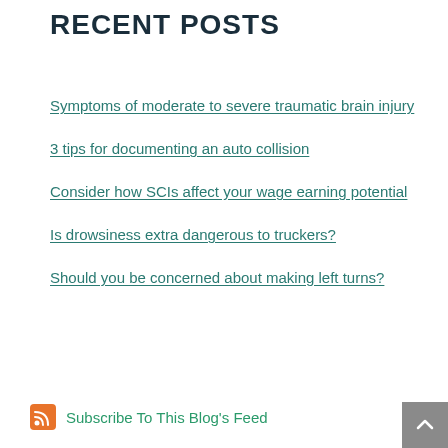RECENT POSTS
Symptoms of moderate to severe traumatic brain injury
3 tips for documenting an auto collision
Consider how SCIs affect your wage earning potential
Is drowsiness extra dangerous to truckers?
Should you be concerned about making left turns?
Subscribe To This Blog's Feed